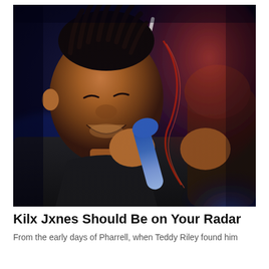[Figure (photo): A performer with braided hair singing passionately into a blue microphone, wearing a dark sweatshirt. The photo has dramatic lighting with red and blue glows, motion blur effects. Another person is partially visible on the right side.]
Kilx Jxnes Should Be on Your Radar
From the early days of Pharrell, when Teddy Riley found him